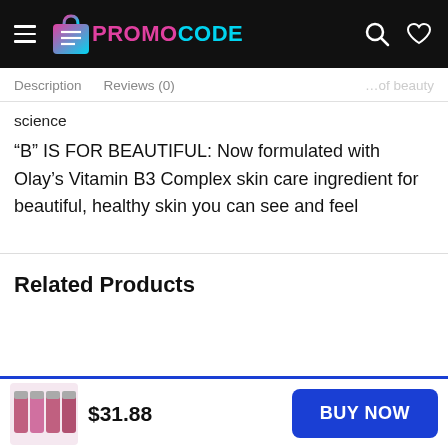PROMOCODE
Description   Reviews (0)
science
“B” IS FOR BEAUTIFUL: Now formulated with Olay’s Vitamin B3 Complex skin care ingredient for beautiful, healthy skin you can see and feel
Related Products
$31.88   BUY NOW